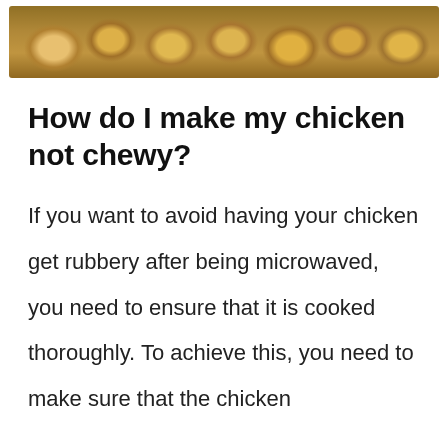[Figure (photo): A photo strip showing cooked chicken pieces on a baking tray, golden-brown and roasted, viewed from above.]
How do I make my chicken not chewy?
If you want to avoid having your chicken get rubbery after being microwaved, you need to ensure that it is cooked thoroughly. To achieve this, you need to make sure that the chicken